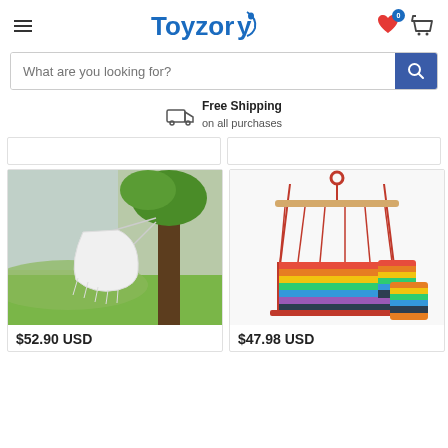Toyzory - header with hamburger menu, wishlist, and cart icons
What are you looking for?
Free Shipping on all purchases
[Figure (photo): White hammock chair hanging from a tree outdoors with green landscape]
$52.90 USD
[Figure (photo): Colorful striped hanging hammock chair with two matching pillows]
$47.98 USD